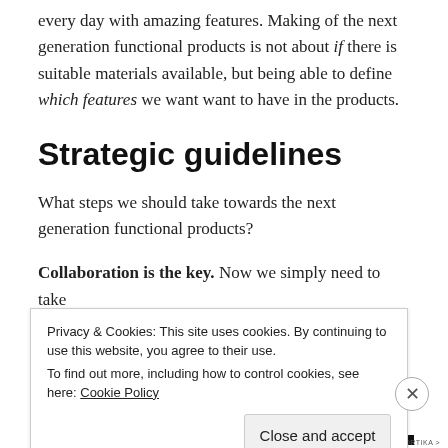every day with amazing features. Making of the next generation functional products is not about if there is suitable materials available, but being able to define which features we want want to have in the products.
Strategic guidelines
What steps we should take towards the next generation functional products?
Collaboration is the key. Now we simply need to take
Privacy & Cookies: This site uses cookies. By continuing to use this website, you agree to their use.
To find out more, including how to control cookies, see here: Cookie Policy
Close and accept